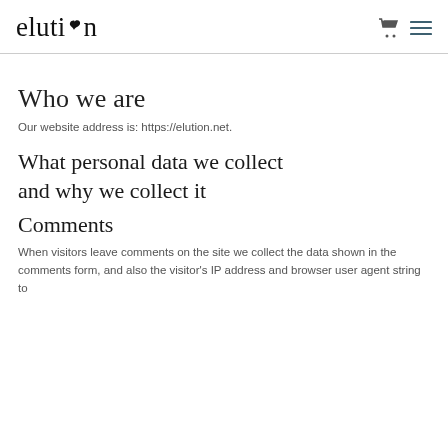elution
Who we are
Our website address is: https://elution.net.
What personal data we collect and why we collect it
Comments
When visitors leave comments on the site we collect the data shown in the comments form, and also the visitor's IP address and browser user agent string to